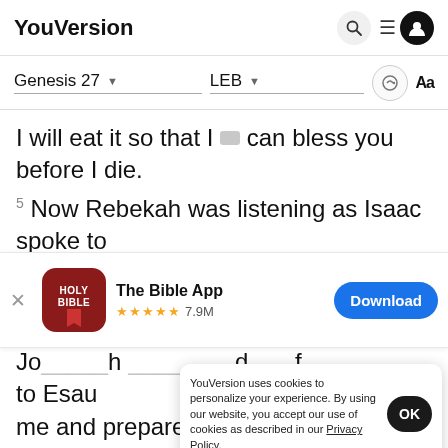YouVersion
Genesis 27 ▾   LEB ▾   🔊  Aa
I will eat it so that I can bless you before I die.
5 Now Rebekah was listening as Isaac spoke to
[Figure (screenshot): The Bible App download banner with HOLY BIBLE icon, star rating 4.9 stars 7.9M, Download button]
Jo...h ...d... f...
to Esau
me and prepare tasty food so I can eat it and bless
YouVersion uses cookies to personalize your experience. By using our website, you accept our use of cookies as described in our Privacy Policy.
Home  Bible  Plans  Videos